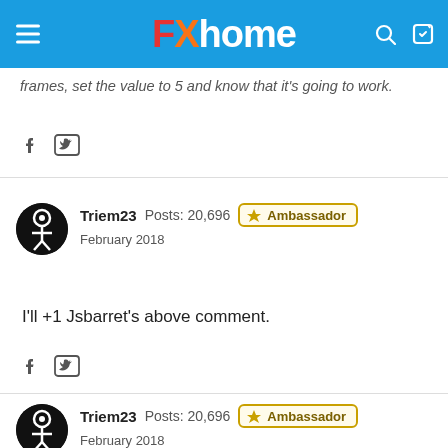FXhome
frames, set the value to 5 and know that it's going to work.
Triem23  Posts: 20,696  Ambassador  February 2018
I'll +1 Jsbarret's above comment.
Triem23  Posts: 20,696  Ambassador  February 2018
@inScapeDigital left a good set of questions for the oft-requested "Move multiple clips from Editor to Timeline" feature (slightly reformatted).